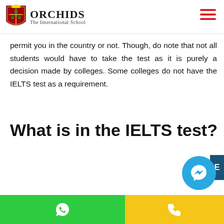ORCHIDS The International School
permit you in the country or not. Though, do note that not all students would have to take the test as it is purely a decision made by colleges. Some colleges do not have the IELTS test as a requirement.
What is in the IELTS test?